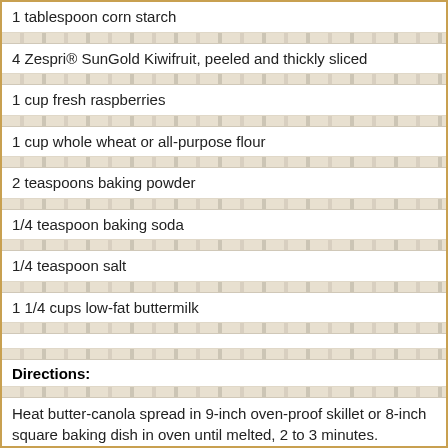1 tablespoon corn starch
4 Zespri® SunGold Kiwifruit, peeled and thickly sliced
1 cup fresh raspberries
1 cup whole wheat or all-purpose flour
2 teaspoons baking powder
1/4 teaspoon baking soda
1/4 teaspoon salt
1 1/4 cups low-fat buttermilk
Directions:
Heat butter-canola spread in 9-inch oven-proof skillet or 8-inch square baking dish in oven until melted, 2 to 3 minutes. Remove from oven; set aside.
Heat oven to 375°F. In medium bowl, stir together sugar and cornstarch. Gently stir kiwifruit and raspberries in to sugar mixture to coat.
In medium bowl, stir together flour, baking powder, baking soda and salt. Stir in buttermilk just until combined. Pour into pan over melted butter